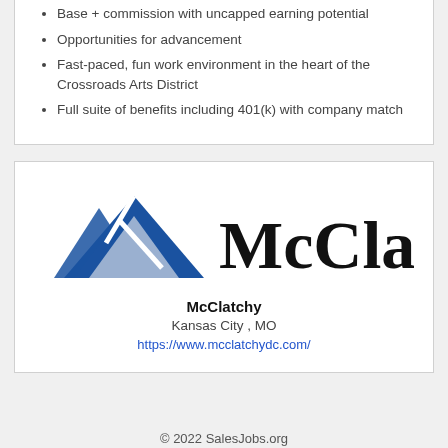Base + commission with uncapped earning potential
Opportunities for advancement
Fast-paced, fun work environment in the heart of the Crossroads Arts District
Full suite of benefits including 401(k) with company match
[Figure (logo): McClatchy company logo with blue triangular mountain graphic and McClatchy text in large serif font]
McClatchy
Kansas City , MO
https://www.mcclatchydc.com/
© 2022 SalesJobs.org